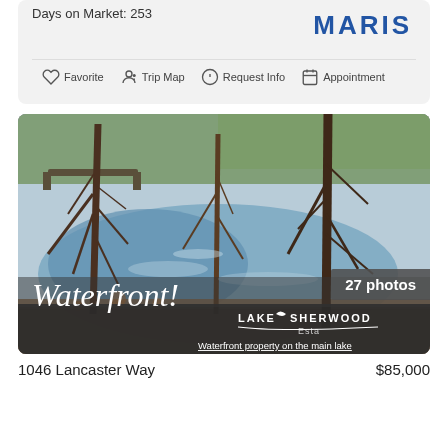Days on Market: 253
[Figure (logo): MARIS logo in blue bold text]
Favorite   Trip Map   Request Info   Appointment
[Figure (photo): Lakefront scene with bare trees, water reflection, Lake Sherwood Estate watermark. Waterfront! script overlay. 27 photos badge. Waterfront property on the main lake text.]
1046 Lancaster Way
$85,000